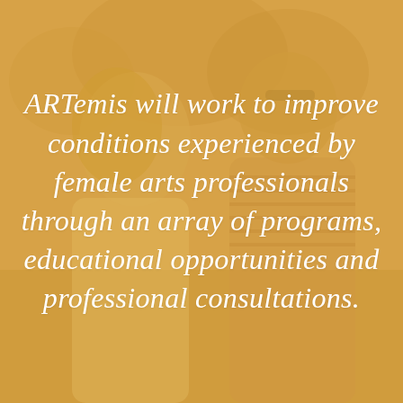[Figure (photo): Two young women standing outdoors in front of trees, photo overlaid with a warm golden/amber tint. One woman has long blonde hair wearing a white tank top, the other has dark hair and wears a striped shirt.]
ARTemis will work to improve conditions experienced by female arts professionals through an array of programs, educational opportunities and professional consultations.